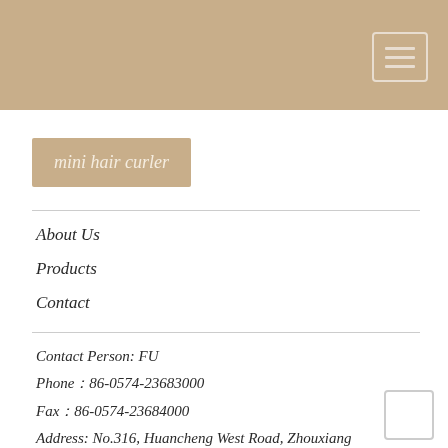mini hair curler
About Us
Products
Contact
Contact Person: FU
Phone：86-0574-23683000
Fax：86-0574-23684000
Address: No.316, Huancheng West Road, Zhouxiang Town Zhejiang Cixi,Ningbo,Zhejiang